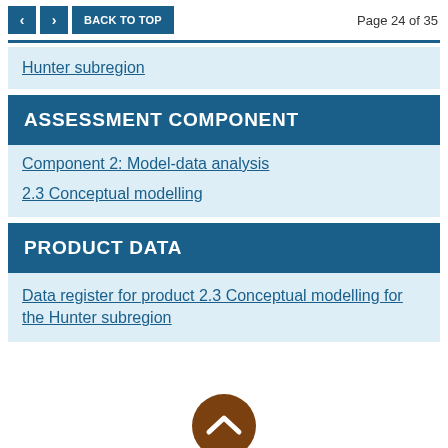< > BACK TO TOP   Page 24 of 35
Hunter subregion
ASSESSMENT COMPONENT
Component 2: Model-data analysis
2.3 Conceptual modelling
PRODUCT DATA
Data register for product 2.3 Conceptual modelling for the Hunter subregion